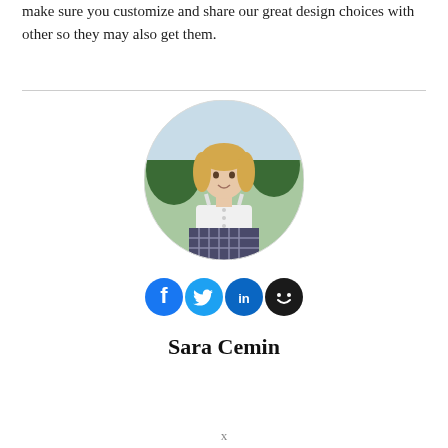make sure you customize and share our great design choices with other so they may also get them.
[Figure (photo): Circular profile photo of Sara Cemin, a young blonde woman in a white top and plaid skirt, outdoors with trees in background]
[Figure (infographic): Social media icons: Facebook (blue), Twitter (blue bird), LinkedIn (blue), and a dark smiley face icon]
Sara Cemin